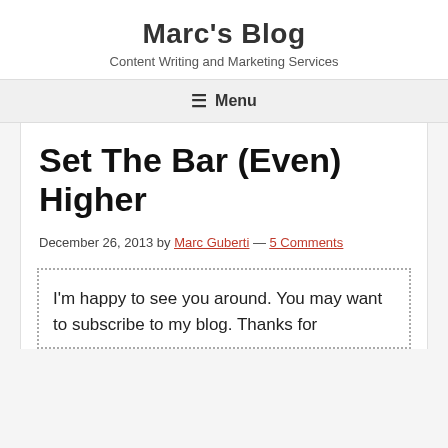Marc's Blog
Content Writing and Marketing Services
☰ Menu
Set The Bar (Even) Higher
December 26, 2013 by Marc Guberti — 5 Comments
I'm happy to see you around. You may want to subscribe to my blog. Thanks for visiting!